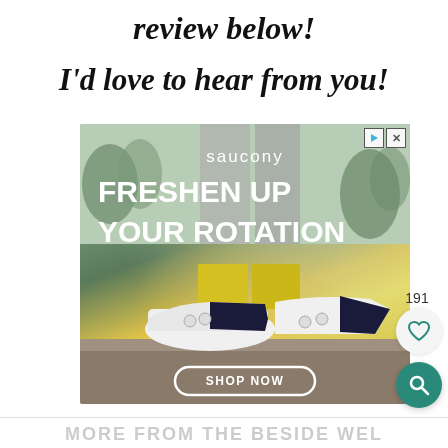review below!
I'd love to hear from you!
[Figure (photo): Saucony advertisement showing white sneakers with yellow socks, text 'FRESHEN UP YOUR ROTATION' and a 'SHOP NOW' button]
191
MORE FROM THE BESIDE WEL